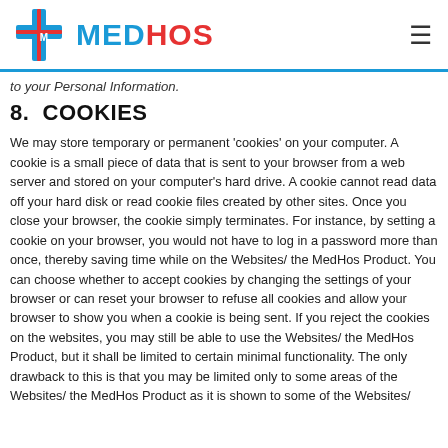MEDHOS
to your Personal Information.
8.  COOKIES
We may store temporary or permanent 'cookies' on your computer. A cookie is a small piece of data that is sent to your browser from a web server and stored on your computer's hard drive. A cookie cannot read data off your hard disk or read cookie files created by other sites. Once you close your browser, the cookie simply terminates. For instance, by setting a cookie on your browser, you would not have to log in a password more than once, thereby saving time while on the Websites/ the MedHos Product. You can choose whether to accept cookies by changing the settings of your browser or can reset your browser to refuse all cookies and allow your browser to show you when a cookie is being sent. If you reject the cookies on the websites, you may still be able to use the Websites/ the MedHos Product, but it shall be limited to certain minimal functionality. The only drawback to this is that you may be limited only to some areas of the Websites/ the MedHos Product as it is shown to some of the Websites/